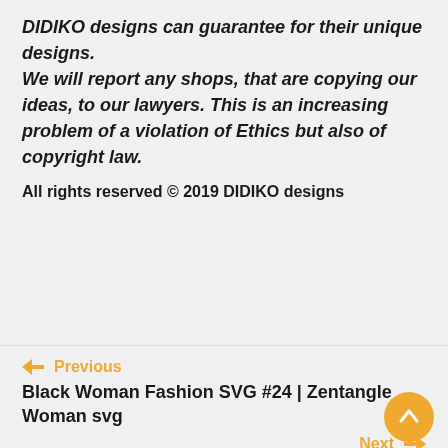DIDIKO designs can guarantee for their unique designs.
We will report any shops, that are copying our ideas, to our lawyers. This is an increasing problem of a violation of Ethics but also of copyright law.
All rights reserved © 2019 DIDIKO designs
$3.35 – PURCHASE
← Previous
Black Woman Fashion SVG #24 | Zentangle Woman svg
Next →
Black Teacher SVG #2 | Back To School SVG Teach Love Inspire SVG